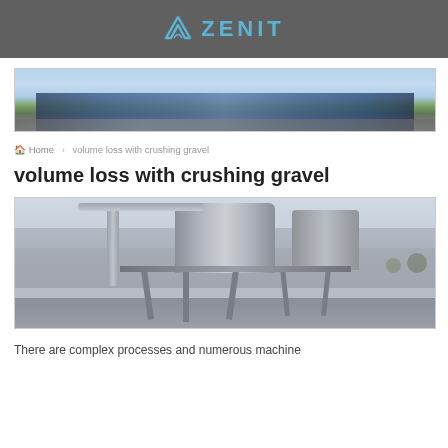ZENIT
[Figure (photo): Wide panoramic photo of a large modern industrial/commercial building complex with glass facade and blue sky]
Home > volume loss with crushing gravel
volume loss with crushing gravel
[Figure (photo): Industrial gravel crushing machine with large metal cylinders, pipes, and support framework structures]
There are complex processes and numerous machine